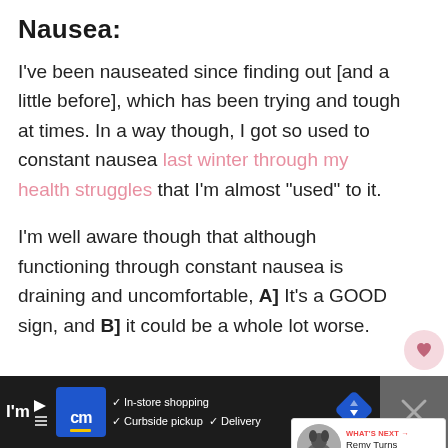Nausea:
I've been nauseated since finding out [and a little before], which has been trying and tough at times. In a way though, I got so used to constant nausea last winter through my health struggles that I'm almost “used” to it.
I'm well aware though that although functioning through constant nausea is draining and uncomfortable, A] It's a GOOD sign, and B] it could be a whole lot worse.
[Figure (screenshot): Social media UI overlay: heart/like icon circle (pink), share icon circle (white), and 'WHAT'S NEXT' widget showing 'Remy Turns One! | Happ...' with a small circular dog photo]
[Figure (screenshot): Advertisement bar at bottom: dark background with 'cm' logo in blue square, checkmarks for 'In-store shopping', 'Curbside pickup', 'Delivery', blue diamond arrow icon, and a dark panel with X close button on the right]